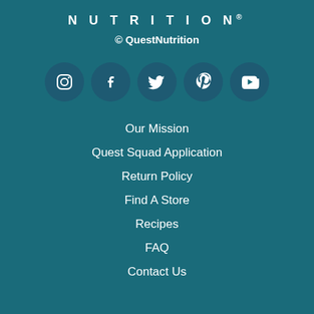NUTRITION®
© QuestNutrition
[Figure (infographic): Row of 5 social media icons in dark teal circles: Instagram, Facebook, Twitter, Pinterest, YouTube]
Our Mission
Quest Squad Application
Return Policy
Find A Store
Recipes
FAQ
Contact Us